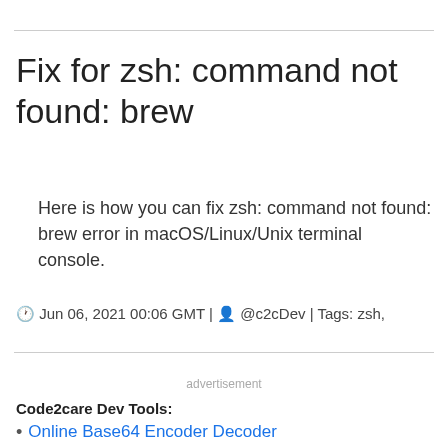Fix for zsh: command not found: brew
Here is how you can fix zsh: command not found: brew error in macOS/Linux/Unix terminal console.
🕐 Jun 06, 2021 00:06 GMT | 👤 @c2cDev | Tags: zsh,
advertisement
Code2care Dev Tools:
Online Base64 Encoder Decoder